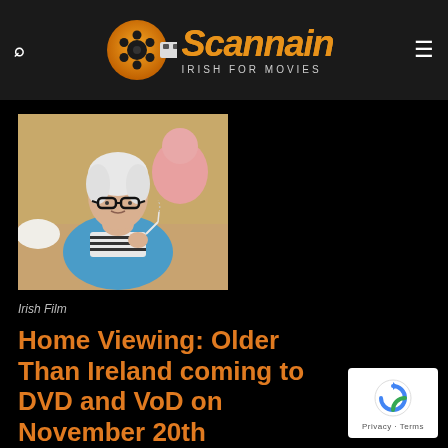Scannain — Irish For Movies
[Figure (photo): Elderly woman with white hair and black glasses, wearing a blue cardigan and striped shirt, holding a cigarette, with a stuffed animal visible in the background]
Irish Film
Home Viewing: Older Than Ireland coming to DVD and VoD on November 20th